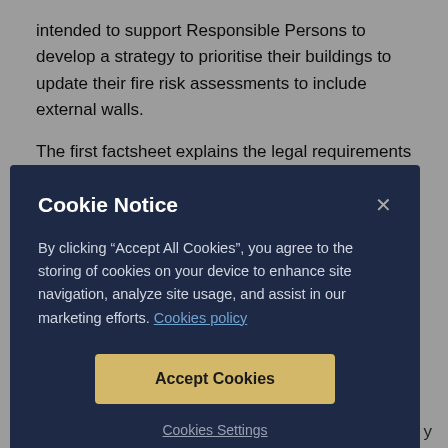intended to support Responsible Persons to develop a strategy to prioritise their buildings to update their fire risk assessments to include external walls.

The first factsheet explains the legal requirements of the Fire Safety Act, defines residential buildings in scope of the FSO (with reference to maisonettes) and notes that “intrusive inspections are only required if the fire risk assessor has serious concerns about
[Figure (screenshot): Cookie Notice modal overlay with dark navy background. Title 'Cookie Notice' with X close button. Body text explaining cookie consent. A yellow 'Accept Cookies' button and a 'Cookies Settings' underlined link below.]